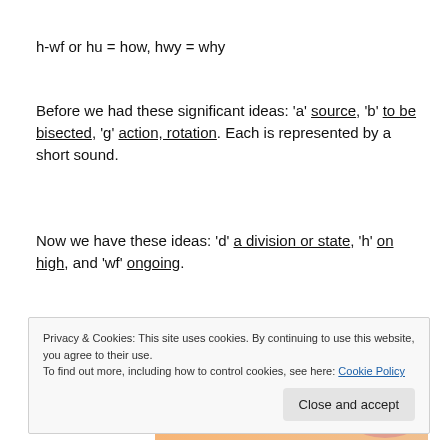h-wf or hu = how, hwy = why
Before we had these significant ideas: 'a' source, 'b' to be bisected, 'g' action, rotation. Each is represented by a short sound.
Now we have these ideas: 'd' a division or state, 'h' on high, and 'wf' ongoing.
[Figure (screenshot): Partial screenshot of a WordPress banner/advertisement reading 'WordPress in the back.' with an orange and pink gradient background.]
Privacy & Cookies: This site uses cookies. By continuing to use this website, you agree to their use.
To find out more, including how to control cookies, see here: Cookie Policy